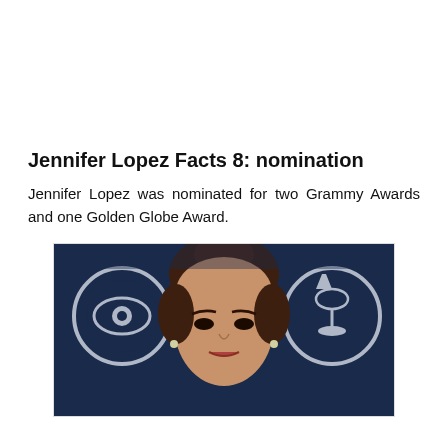Jennifer Lopez Facts 8: nomination
Jennifer Lopez was nominated for two Grammy Awards and one Golden Globe Award.
[Figure (photo): Photo of Jennifer Lopez at an awards event, with CBS and Grammy logos visible in the background. She has her hair pulled up and is wearing earrings.]